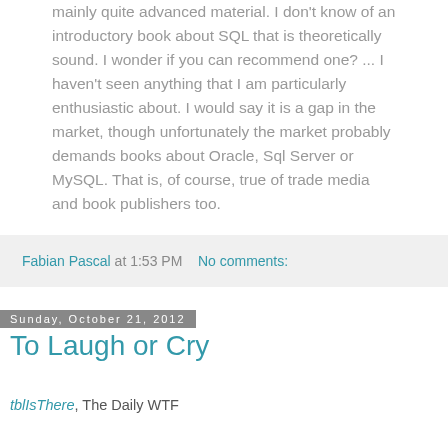mainly quite advanced material. I don't know of an introductory book about SQL that is theoretically sound. I wonder if you can recommend one? ... I haven't seen anything that I am particularly enthusiastic about. I would say it is a gap in the market, though unfortunately the market probably demands books about Oracle, Sql Server or MySQL. That is, of course, true of trade media and book publishers too.
Fabian Pascal at 1:53 PM   No comments:
Sunday, October 21, 2012
To Laugh or Cry
tblIsThere, The Daily WTF